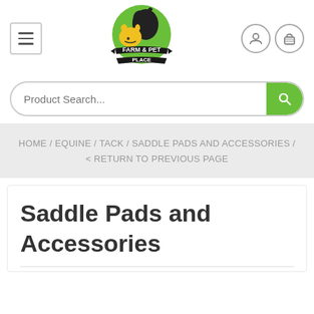[Figure (logo): Farm & Pet Place logo — green circle with black horse and yellow dog/cat silhouettes, black banner ribbon with text FARM & PET PLACE]
Product Search...
HOME / EQUINE / TACK / SADDLE PADS AND ACCESSORIES / < RETURN TO PREVIOUS PAGE
Saddle Pads and Accessories